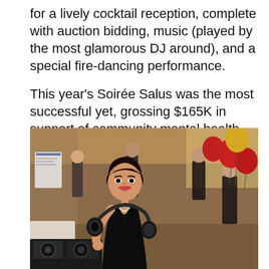for a lively cocktail reception, complete with auction bidding, music (played by the most glamorous DJ around), and a special fire-dancing performance.
This year's Soirée Salus was the most successful yet, grossing $165K in support of community mental health services.
[Figure (photo): A smiling woman in a black dress holding large headphones at an indoor cocktail reception event with red and gold balloons in the background and other guests mingling.]